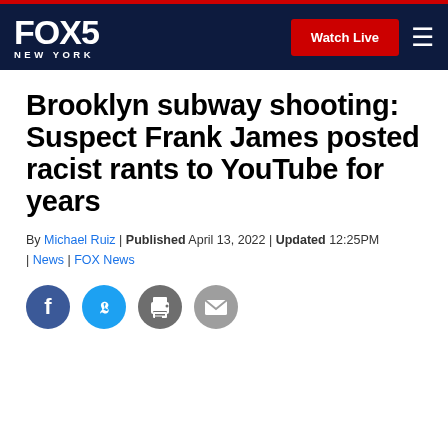FOX 5 NEW YORK | Watch Live
Brooklyn subway shooting: Suspect Frank James posted racist rants to YouTube for years
By Michael Ruiz | Published April 13, 2022 | Updated 12:25PM | News | FOX News
[Figure (other): Social media share icons: Facebook, Twitter, Print, Email]